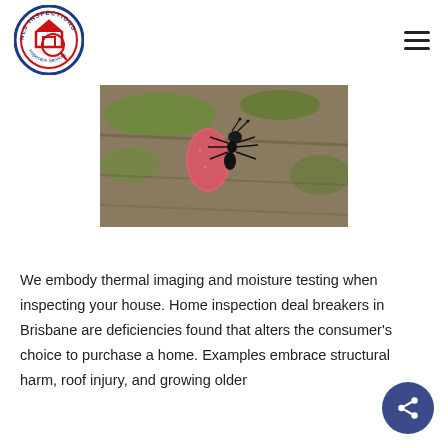[Figure (logo): NLS Inspections circular logo with a house icon inside, red and blue colors]
[Figure (photo): Close-up photo of an ant carrying a pink egg or larva on a rough bark surface with green lichen]
We embody thermal imaging and moisture testing when inspecting your house. Home inspection deal breakers in Brisbane are deficiencies found that alters the consumer's choice to purchase a home. Examples embrace structural harm, roof injury, and growing older